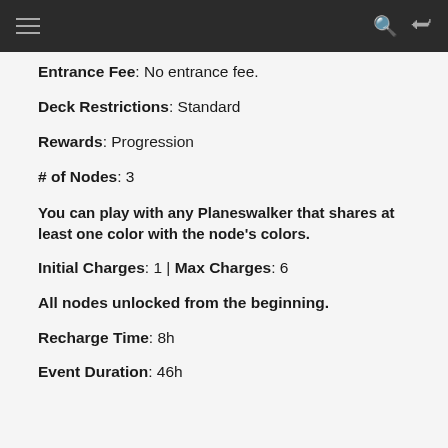Entrance Fee: No entrance fee.
Deck Restrictions: Standard
Rewards: Progression
# of Nodes: 3
You can play with any Planeswalker that shares at least one color with the node's colors.
Initial Charges: 1 | Max Charges: 6
All nodes unlocked from the beginning.
Recharge Time: 8h
Event Duration: 46h